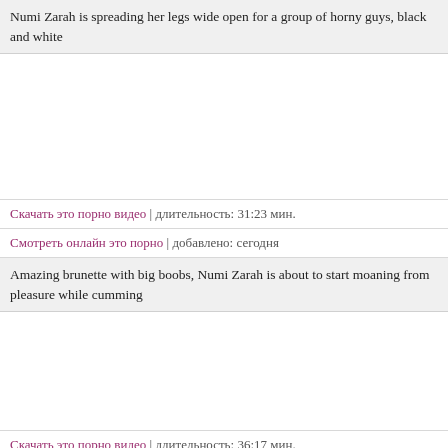Numi Zarah is spreading her legs wide open for a group of horny guys, black and white
Скачать это порно видео | длительность: 31:23 мин.
Смотреть онлайн это порно | добавлено: сегодня
Amazing brunette with big boobs, Numi Zarah is about to start moaning from pleasure while cumming
Скачать это порно видео | длительность: 36:17 мин.